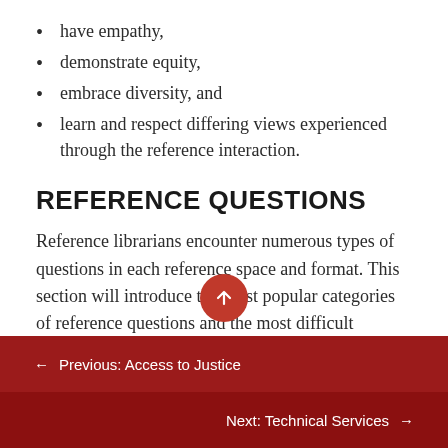have empathy,
demonstrate equity,
embrace diversity, and
learn and respect differing views experienced through the reference interaction.
REFERENCE QUESTIONS
Reference librarians encounter numerous types of questions in each reference space and format. This section will introduce the most popular categories of reference questions and the most difficult situations across all patron types.
← Previous: Access to Justice
Next: Technical Services →